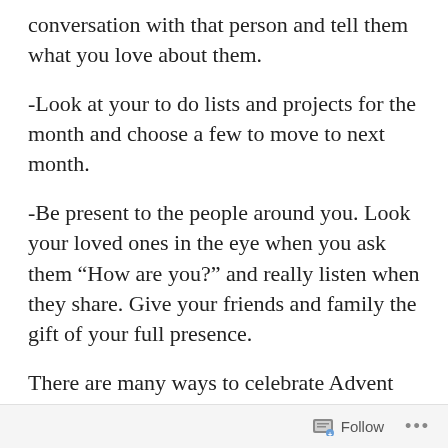conversation with that person and tell them what you love about them.
-Look at your to do lists and projects for the month and choose a few to move to next month.
-Be present to the people around you. Look your loved ones in the eye when you ask them “How are you?” and really listen when they share. Give your friends and family the gift of your full presence.
There are many ways to celebrate Advent and prepare for the coming of Jesus Christ. The most important way to celebrate Advent is the way that your mind, body, and soul need. Take time…
Follow •••